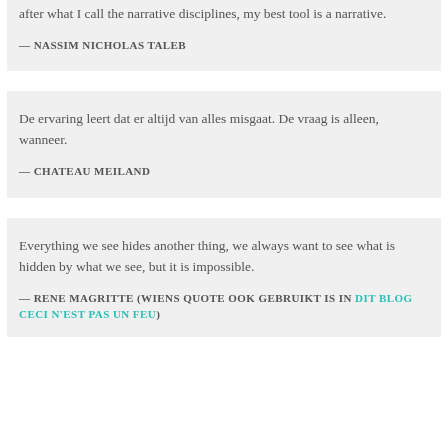after what I call the narrative disciplines, my best tool is a narrative.
— NASSIM NICHOLAS TALEB
De ervaring leert dat er altijd van alles misgaat. De vraag is alleen, wanneer.
— CHATEAU MEILAND
Everything we see hides another thing, we always want to see what is hidden by what we see, but it is impossible.
— RENE MAGRITTE (WIENS QUOTE OOK GEBRUIKT IS IN DIT BLOG CECI N'EST PAS UN FEU)